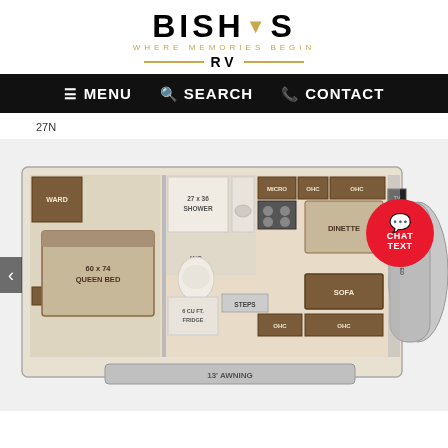[Figure (logo): Bish's RV logo with tagline WHERE MEMORIES BEGIN and gold decorative lines]
[Figure (infographic): Navigation bar with MENU, SEARCH, CONTACT items on black background]
27N
[Figure (other): RV floor plan diagram showing: WARD (wardrobe), 60x74 QUEEN BED, OHC cabinets, 27x36 SHOWER, WC, 6 CU FT FRIDGE, MICRO, OHC, DINETTE, SOFA, STEPS, OHC, OHC, TV, CAB OVER BED, 13' AWNING]